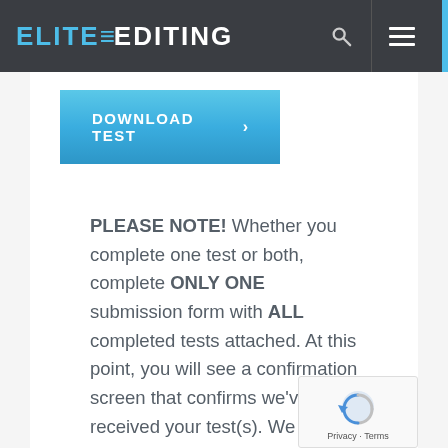ELITE EDITING
[Figure (other): Download Test button — a blue rectangular button with white uppercase bold text 'DOWNLOAD TEST' and a right-pointing arrow]
PLEASE NOTE! Whether you complete one test or both, complete ONLY ONE submission form with ALL completed tests attached. At this point, you will see a confirmation screen that confirms we've received your test(s). We will get back to you to let you know if we are going to move to the next step!